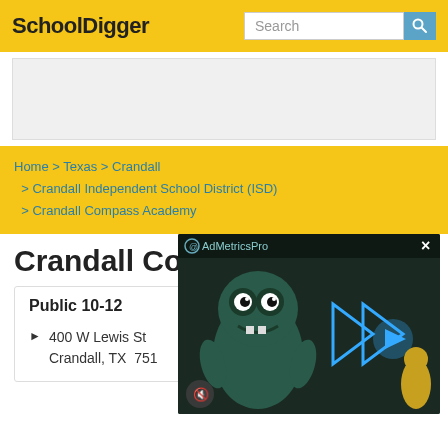SchoolDigger
Search
Home > Texas > Crandall > Crandall Independent School District (ISD) > Crandall Compass Academy
Crandall Com...
Public 10-12
400 W Lewis St
Crandall, TX  751...
[Figure (screenshot): AdMetricsPro video ad overlay showing animated monster character with play controls and mute button on dark background]